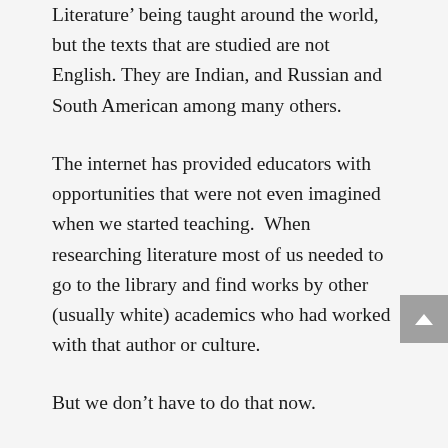Literature' being taught around the world, but the texts that are studied are not English. They are Indian, and Russian and South American among many others.
The internet has provided educators with opportunities that were not even imagined when we started teaching.  When researching literature most of us needed to go to the library and find works by other (usually white) academics who had worked with that author or culture.
But we don't have to do that now.